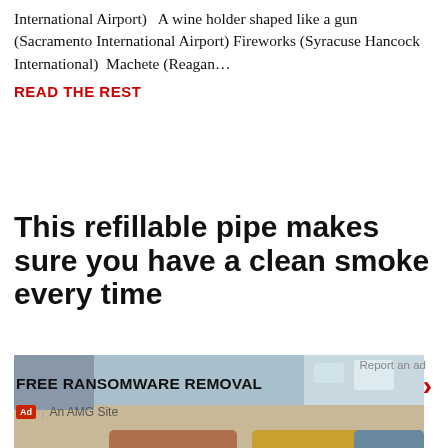International Airport)   A wine holder shaped like a gun (Sacramento International Airport) Fireworks (Syracuse Hancock International)  Machete (Reagan…
READ THE REST
This refillable pipe makes sure you have a clean smoke every time
[Figure (photo): Photo showing three refillable pipe pieces side by side on a surface — one copper/brown, one gold/brass, one dark gray/slate colored, each with a small hole visible.]
Report an ad
FREE RANSOMWARE REMOVAL
Ad  |  An AMG Site